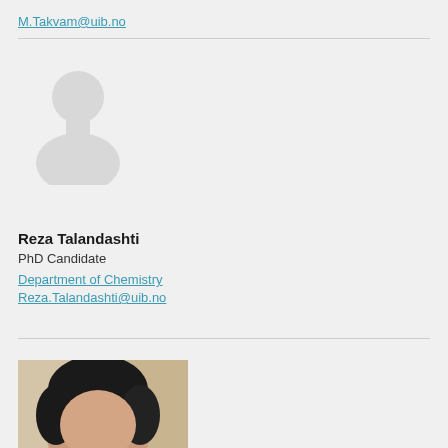M.Takvam@uib.no
[Figure (illustration): Default person silhouette avatar placeholder]
Reza Talandashti
PhD Candidate
Department of Chemistry
Reza.Talandashti@uib.no
[Figure (photo): Partial photo of a person with dark hair, cropped at bottom of page]